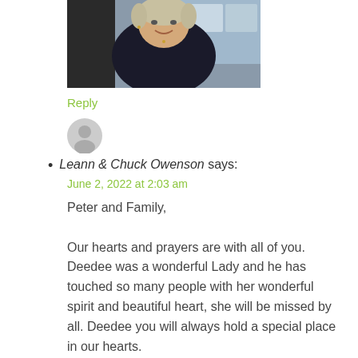[Figure (photo): Photo of a woman with short blonde/grey hair, wearing a dark jacket, smiling, in an indoor setting]
Reply
[Figure (illustration): Generic grey avatar/profile icon placeholder]
Leann & Chuck Owenson says: June 2, 2022 at 2:03 am

Peter and Family,

Our hearts and prayers are with all of you. Deedee was a wonderful Lady and he has touched so many people with her wonderful spirit and beautiful heart, she will be missed by all. Deedee you will always hold a special place in our hearts.

Chuck and Leann